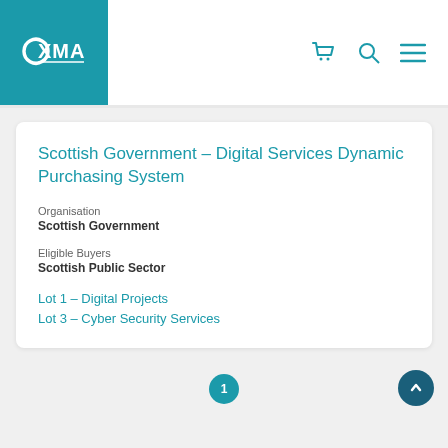[Figure (logo): XMA company logo — white text on teal background with stylized C bracket]
Scottish Government – Digital Services Dynamic Purchasing System
Organisation
Scottish Government
Eligible Buyers
Scottish Public Sector
Lot 1 – Digital Projects
Lot 3 – Cyber Security Services